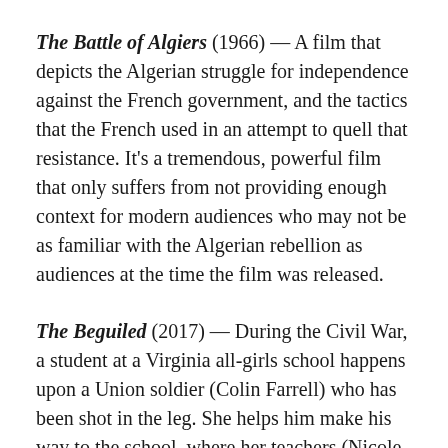The Battle of Algiers (1966) — A film that depicts the Algerian struggle for independence against the French government, and the tactics that the French used in an attempt to quell that resistance. It's a tremendous, powerful film that only suffers from not providing enough context for modern audiences who may not be as familiar with the Algerian rebellion as audiences at the time the film was released.
The Beguiled (2017) — During the Civil War, a student at a Virginia all-girls school happens upon a Union soldier (Colin Farrell) who has been shot in the leg. She helps him make his way to the school, where her teachers (Nicole Kidman and Kirsten Dunst) clean and stitch up the wound. After some discussion, the women decide that the best thing to do is to give him time to heal before they should turn...